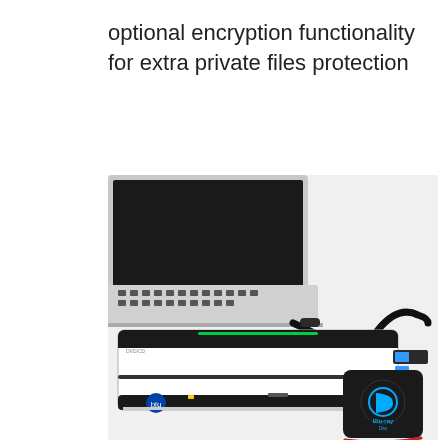optional encryption functionality for extra private files protection
[Figure (photo): A white external Blu-ray/DVD/CD optical disc drive connected via USB-C cable to a laptop computer. The drive is white and black with USB ports on the side and a Blu-ray logo button. A small black Blu-ray disc carrying case with the Blu-ray logo in blue is shown to the right of the drive.]